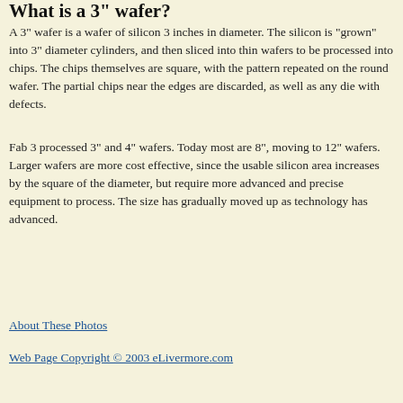What is a 3" wafer?
A 3" wafer is a wafer of silicon 3 inches in diameter.  The silicon is "grown" into 3" diameter cylinders, and then sliced into thin wafers to be processed into chips.  The chips themselves are square, with the pattern repeated on the round wafer.  The partial chips near the edges are discarded, as well as any die with defects.
Fab 3 processed 3" and 4" wafers.  Today most are 8", moving to 12" wafers.  Larger wafers are more cost effective, since the usable silicon area increases by the square of the diameter, but require more advanced and precise equipment to process.  The size has gradually moved up as technology has advanced.
About These Photos
Web Page Copyright © 2003 eLivermore.com